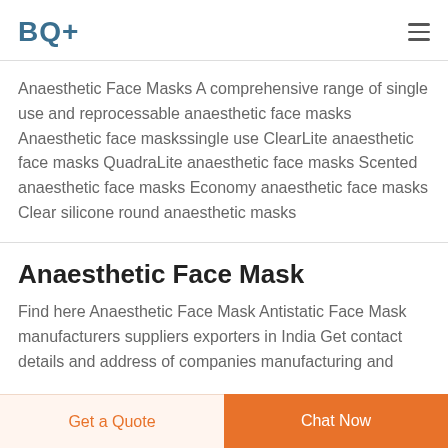BQ+
Anaesthetic Face Masks A comprehensive range of single use and reprocessable anaesthetic face masks Anaesthetic face maskssingle use ClearLite anaesthetic face masks QuadraLite anaesthetic face masks Scented anaesthetic face masks Economy anaesthetic face masks Clear silicone round anaesthetic masks
Anaesthetic Face Mask
Find here Anaesthetic Face Mask Antistatic Face Mask manufacturers suppliers exporters in India Get contact details and address of companies manufacturing and
Get a Quote   Chat Now